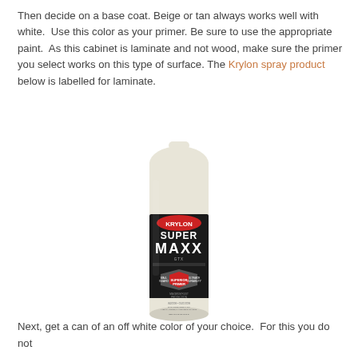Then decide on a base coat. Beige or tan always works well with white.  Use this color as your primer. Be sure to use the appropriate paint.  As this cabinet is laminate and not wood, make sure the primer you select works on this type of surface. The Krylon spray product below is labelled for laminate.
[Figure (photo): Krylon Super Maxx spray paint can in off-white/beige color with black label]
Next, get a can of an off white color of your choice.  For this you do not